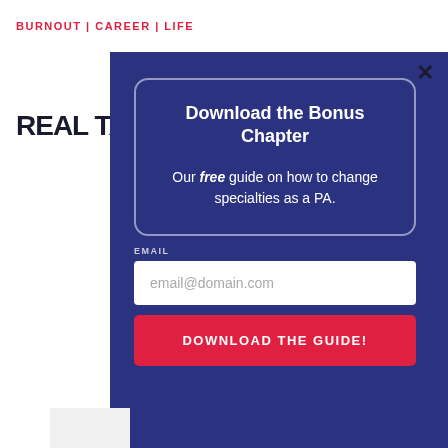BURNOUT | CAREER | LIFE
REAL TALK with KAREN
Download the Bonus Chapter
Our free guide on how to change specialties as a PA.
EMAIL
email@domain.com
DOWNLOAD THE GUIDE!